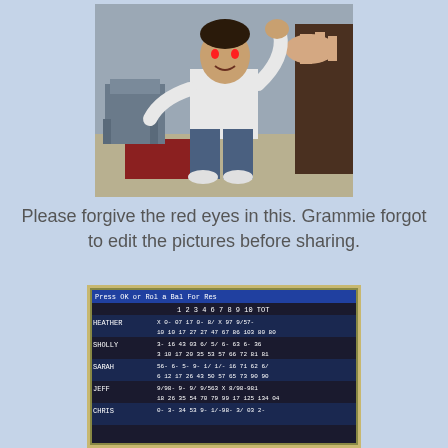[Figure (photo): A young child in a white long-sleeve shirt and blue jeans sitting in a small chair with arms raised. Another adult's hand is visible in the background. The setting appears to be a playroom or classroom. Red-eye flash effect visible.]
Please forgive the red eyes in this. Grammie forgot to edit the pictures before sharing.
[Figure (screenshot): A photograph of a computer monitor screen showing what appears to be a bowling score sheet. Names visible include HEATHER, SHOLLY, SARAH, JEFF, CHRIS. Scores displayed in a grid format across multiple frames numbered 1-10 plus total.]